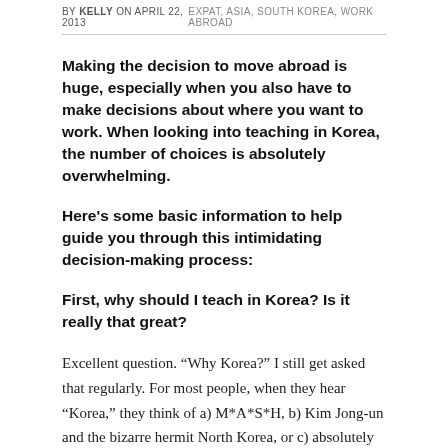BY KELLY ON APRIL 22, 2015   EXPAT, ASIA, SOUTH KOREA, WORK ABROAD
Making the decision to move abroad is huge, especially when you also have to make decisions about where you want to work. When looking into teaching in Korea, the number of choices is absolutely overwhelming.
Here's some basic information to help guide you through this intimidating decision-making process:
First, why should I teach in Korea? Is it really that great?
Excellent question. “Why Korea?” I still get asked that regularly. For most people, when they hear “Korea,” they think of a) M*A*S*H, b) Kim Jong-un and the bizarre hermit North Korea, or c) absolutely nothing at all. Korea is often dismissed or overlooked, which